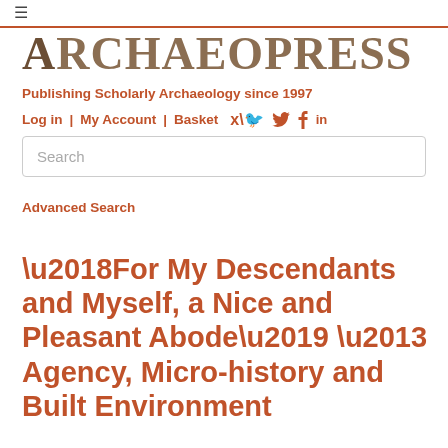≡
[Figure (logo): Archaeopress logo — stylized text 'Archaeopress' in serif font with brown/tan coloring]
Publishing Scholarly Archaeology since 1997
Log in | My Account | Basket 🐦 f in
Search
Advanced Search
‘For My Descendants and Myself, a Nice and Pleasant Abode’ – Agency, Micro-history and Built Environment